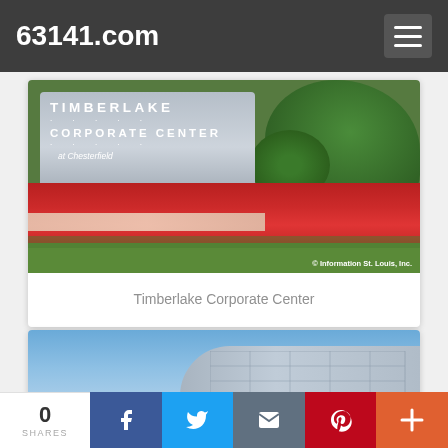63141.com
[Figure (photo): Timberlake Corporate Center at Chesterfield monument sign surrounded by red and white flower beds and green shrubs. Copyright watermark: © Information St. Louis, Inc.]
Timberlake Corporate Center
[Figure (photo): Exterior photo of a modern office building with glass facade under a blue sky, partially visible.]
0
SHARES